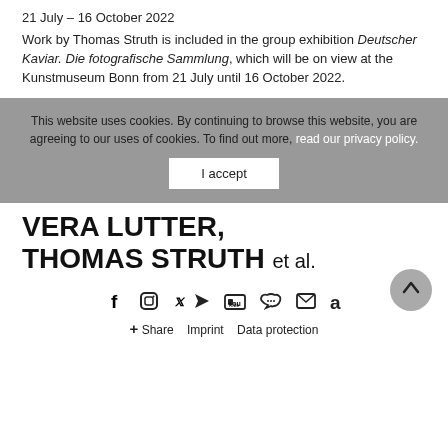21 July – 16 October 2022
Work by Thomas Struth is included in the group exhibition Deutscher Kaviar. Die fotografische Sammlung, which will be on view at the Kunstmuseum Bonn from 21 July until 16 October 2022.
This website uses cookies. By continuing to browse this website, you are agreeing to our uses of cookies. To find out more, read our privacy policy.
I accept
VERA LUTTER, THOMAS STRUTH et al.
Social icons: Facebook, Instagram, Twitter, YouTube, WeChat, Email, Amazon
+ Share   Imprint   Data protection